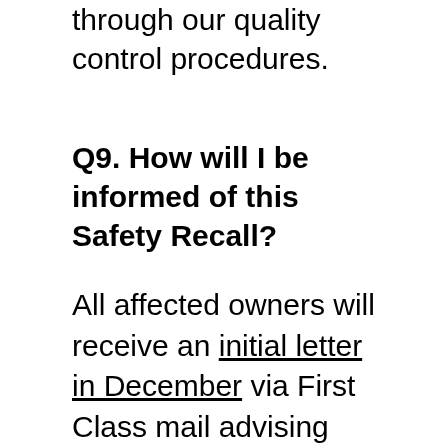through our quality control procedures.
Q9. How will I be informed of this Safety Recall?
All affected owners will receive an initial letter in December via First Class mail advising them of this recall.  Due to the large vehicle population, sufficient parts may not be immediately available to repair all